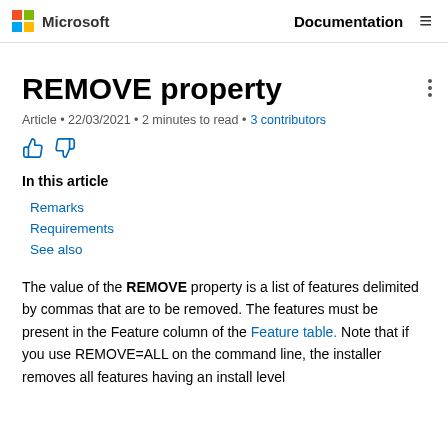Microsoft   Documentation
REMOVE property
Article • 22/03/2021 • 2 minutes to read • 3 contributors
In this article
Remarks
Requirements
See also
The value of the REMOVE property is a list of features delimited by commas that are to be removed. The features must be present in the Feature column of the Feature table. Note that if you use REMOVE=ALL on the command line, the installer removes all features having an install level